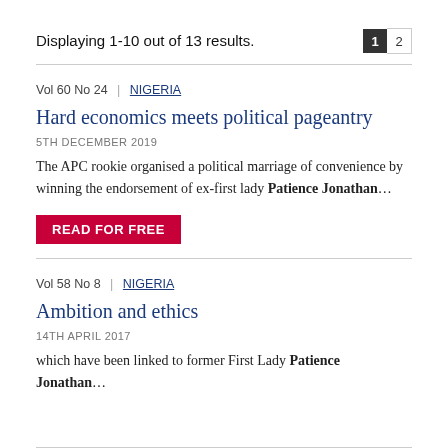Displaying 1-10 out of 13 results.
Vol 60 No 24 | NIGERIA
Hard economics meets political pageantry
5TH DECEMBER 2019
The APC rookie organised a political marriage of convenience by winning the endorsement of ex-first lady Patience Jonathan...
Vol 58 No 8 | NIGERIA
Ambition and ethics
14TH APRIL 2017
which have been linked to former First Lady Patience Jonathan...